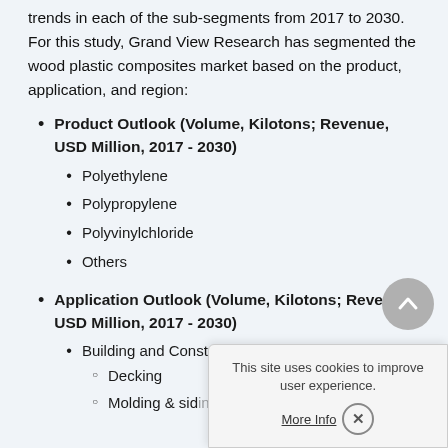trends in each of the sub-segments from 2017 to 2030. For this study, Grand View Research has segmented the wood plastic composites market based on the product, application, and region:
Product Outlook (Volume, Kilotons; Revenue, USD Million, 2017 - 2030)
Polyethylene
Polypropylene
Polyvinylchloride
Others
Application Outlook (Volume, Kilotons; Revenue, USD Million, 2017 - 2030)
Building and Construction
Decking
Molding & siding